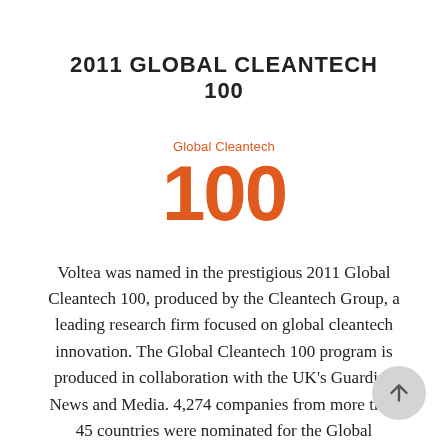2011 GLOBAL CLEANTECH 100
[Figure (logo): Global Cleantech 100 logo — orange text reading 'Global Cleantech' above large bold orange '100']
Voltea was named in the prestigious 2011 Global Cleantech 100, produced by the Cleantech Group, a leading research firm focused on global cleantech innovation. The Global Cleantech 100 program is produced in collaboration with the UK's Guardian News and Media. 4,274 companies from more than 45 countries were nominated for the Global